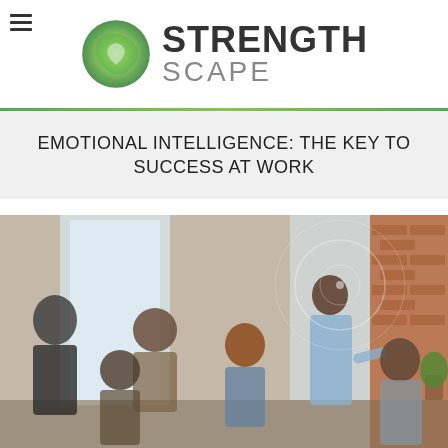[Figure (logo): StrengthScape logo with green/yellow swirl sphere and text STRENGTH SCAPE]
EMOTIONAL INTELLIGENCE: THE KEY TO SUCCESS AT WORK
[Figure (photo): Group of diverse professionals in a meeting room, a woman standing and presenting while others sit and listen, brick wall background with large windows]